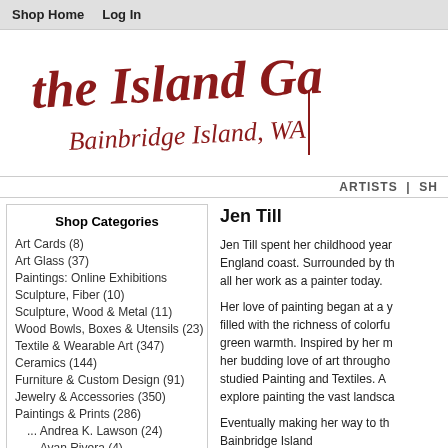Shop Home   Log In
[Figure (logo): The Island Gallery — Bainbridge Island, WA logo in dark red script handwriting]
ARTISTS | SH
Shop Categories
Art Cards (8)
Art Glass (37)
Paintings: Online Exhibitions
Sculpture, Fiber (10)
Sculpture, Wood & Metal (11)
Wood Bowls, Boxes & Utensils (23)
Textile & Wearable Art (347)
Ceramics (144)
Furniture & Custom Design (91)
Jewelry & Accessories (350)
Paintings & Prints (286)
... Andrea K. Lawson (24)
... Ayan Rivera (4)
... Begona Rentero (4)
Jen Till
Jen Till spent her childhood years on the England coast. Surrounded by the sea, all her work as a painter today.
Her love of painting began at a young age, filled with the richness of colorful green warmth. Inspired by her mother, her budding love of art throughout, studied Painting and Textiles. A explore painting the vast landsca
Eventually making her way to the Bainbridge Island